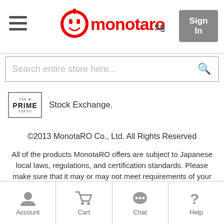monotaro.sg — Sign In
Search entire store here...
[Figure (logo): TSE Prime Tokyo badge]
Stock Exchange.
©2013 MonotaRO Co., Ltd. All Rights Reserved
All of the products MonotaRO offers are subject to Japanese local laws, regulations, and certification standards. Please make sure that it may or may not meet requirements of your country and/or international organizations, including but not limited to, UL Certification, China Compulsory Certificate system, and Halal. MonotaRO Co., Ltd. Hyogo Public Safety Commission No.671220000030
Account | Cart | Chat | Help